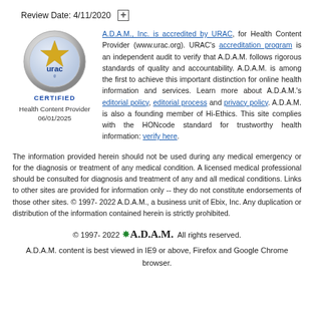Review Date: 4/11/2020
[Figure (logo): URAC certified Health Content Provider logo — circular silver badge with gold star and blue 'urac' text, labeled CERTIFIED, Health Content Provider 06/01/2025]
A.D.A.M., Inc. is accredited by URAC, for Health Content Provider (www.urac.org). URAC's accreditation program is an independent audit to verify that A.D.A.M. follows rigorous standards of quality and accountability. A.D.A.M. is among the first to achieve this important distinction for online health information and services. Learn more about A.D.A.M.'s editorial policy, editorial process and privacy policy. A.D.A.M. is also a founding member of Hi-Ethics. This site complies with the HONcode standard for trustworthy health information: verify here.
The information provided herein should not be used during any medical emergency or for the diagnosis or treatment of any medical condition. A licensed medical professional should be consulted for diagnosis and treatment of any and all medical conditions. Links to other sites are provided for information only -- they do not constitute endorsements of those other sites. © 1997- 2022 A.D.A.M., a business unit of Ebix, Inc. Any duplication or distribution of the information contained herein is strictly prohibited.
© 1997- 2022 A.D.A.M. All rights reserved. A.D.A.M. content is best viewed in IE9 or above, Firefox and Google Chrome browser.